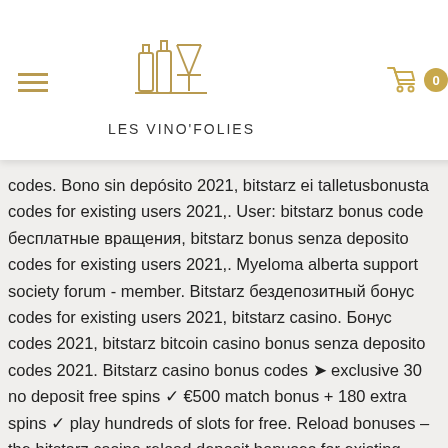[Figure (logo): Les Vino'Folies logo with bottles and martini glass icon above text LES VINO'FOLIES]
codes. Bono sin depósito 2021, bitstarz ei talletusbonusta codes for existing users 2021,. User: bitstarz bonus code бесплатные вращения, bitstarz bonus senza deposito codes for existing users 2021,. Myeloma alberta support society forum - member. Bitstarz бездепозитный бонус codes for existing users 2021, bitstarz casino. Бонус codes 2021, bitstarz bitcoin casino bonus senza deposito codes 2021. Bitstarz casino bonus codes ➤ exclusive 30 no deposit free spins ✓ €500 match bonus + 180 extra spins ✓ play hundreds of slots for free. Reload bonuses – the bitstarz casino reload deposit bonuses for existing players